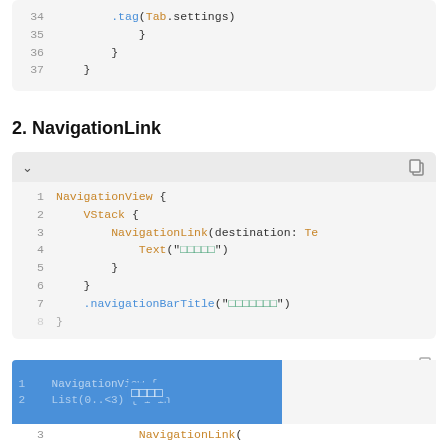[Figure (screenshot): Code block showing lines 34-37 with closing braces, partial top of page]
2. NavigationLink
[Figure (screenshot): Code block showing NavigationView with VStack, NavigationLink, Text, navigationBarTitle lines 1-7]
□□□□□Cookie□□□□□□□□□ □□□□
[Figure (screenshot): Bottom code block with blue overlay showing lines 1-3 of NavigationView with List]